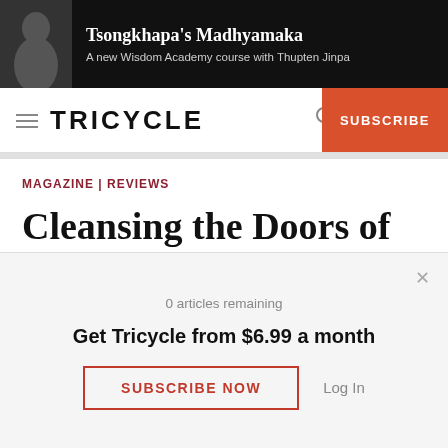[Figure (infographic): Ad banner for Tsongkhapa's Madhyamaka course with photo of Thupten Jinpa on dark background. Text: Tsongkhapa's Madhyamaka / A new Wisdom Academy course with Thupten Jinpa]
TRICYCLE   SUBSCRIBE
MAGAZINE | REVIEWS
Cleansing the Doors of Perception
By Huston Smith
0 articles remaining
Get Tricycle from $6.99 a month
SUBSCRIBE NOW   Log In